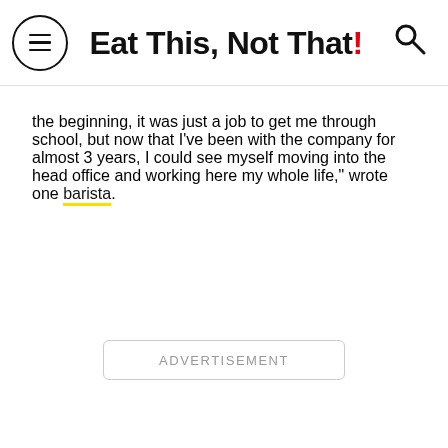Eat This, Not That!
the beginning, it was just a job to get me through school, but now that I've been with the company for almost 3 years, I could see myself moving into the head office and working here my whole life," wrote one barista.
ADVERTISEMENT